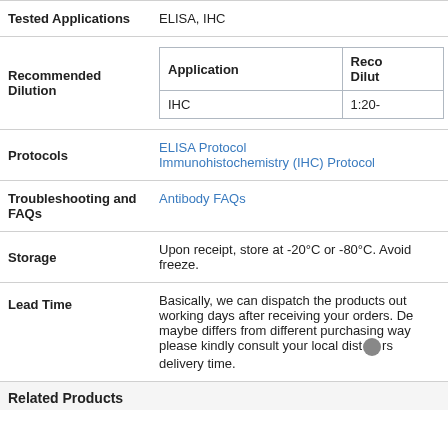| Field | Value |
| --- | --- |
| Tested Applications | ELISA, IHC |
| Recommended Dilution | Application: IHC | Recommended Dilution: 1:20- |
| Protocols | ELISA Protocol
Immunohistochemistry (IHC) Protocol |
| Troubleshooting and FAQs | Antibody FAQs |
| Storage | Upon receipt, store at -20°C or -80°C. Avoid freeze. |
| Lead Time | Basically, we can dispatch the products out working days after receiving your orders. Delivery maybe differs from different purchasing ways, please kindly consult your local distributors delivery time. |
Related Products